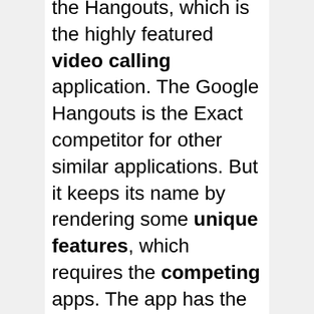the Hangouts, which is the highly featured video calling application. The Google Hangouts is the Exact competitor for other similar applications. But it keeps its name by rendering some unique features, which requires the competing apps. The app has the stable integration with the google accounts. Which lets you do a lot more with the application. The application is created for the convenient of the people, in which anyone can use the Dialer without any difficulties. Instead of calling with the native